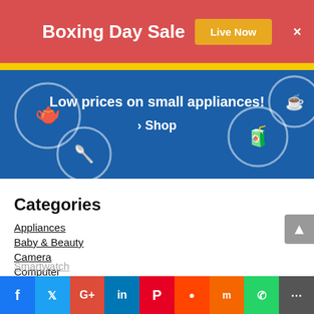Boxing Day Sale — Live Now
[Figure (infographic): Blue ad banner for small appliances with yellow kettle, hand mixer, blender, and coffee maker icons. Text: 'Low prices on small appliances! › Shop']
Categories
Appliances
Baby & Beauty
Camera
Computer
Fitness Tracker
Games
Headphones
Printers
Smartwatch
Facebook Twitter Google+ LinkedIn Pinterest Reddit Mix WhatsApp Share